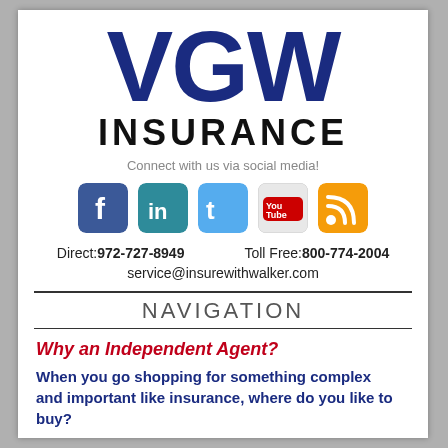[Figure (logo): VGW Insurance logo with large bold dark blue VGW text and black INSURANCE text below]
Connect with us via social media!
[Figure (illustration): Five social media icons: Facebook (blue), LinkedIn (teal-blue), Twitter (light blue), YouTube (red/white), RSS feed (orange)]
Direct: 972-727-8949    Toll Free: 800-774-2004
service@insurewithwalker.com
NAVIGATION
Why an Independent Agent?
When you go shopping for something complex and important like insurance, where do you like to buy?